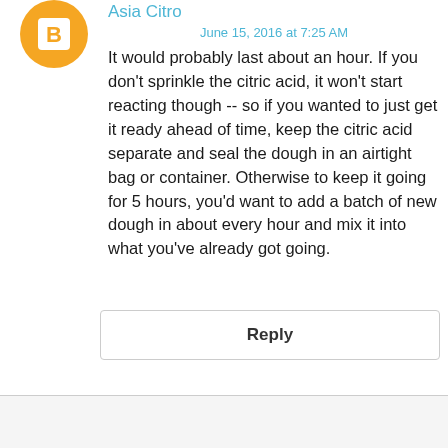[Figure (illustration): Orange blogger avatar circle with white 'B' letter icon]
Asia Citro
June 15, 2016 at 7:25 AM
It would probably last about an hour. If you don't sprinkle the citric acid, it won't start reacting though -- so if you wanted to just get it ready ahead of time, keep the citric acid separate and seal the dough in an airtight bag or container. Otherwise to keep it going for 5 hours, you'd want to add a batch of new dough in about every hour and mix it into what you've already got going.
Reply
[Figure (illustration): Orange avatar circle (partially visible at bottom)]